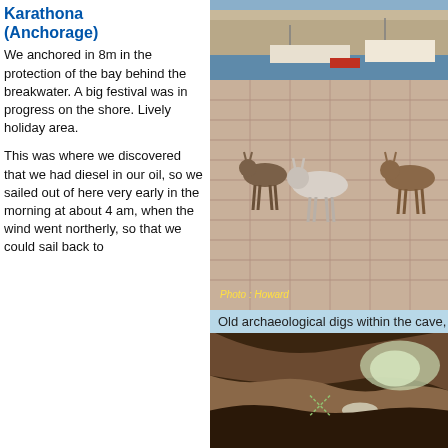Karathona (Anchorage)
We anchored in 8m in the protection of the bay behind the breakwater. A big festival was in progress on the shore. Lively holiday area.
This was where we discovered that we had diesel in our oil, so we sailed out of here very early in the morning at about 4 am, when the wind went northerly, so that we could sail back to
[Figure (photo): Donkeys standing on a stone quayside with yachts and harbour buildings in the background. Photo credit: Howard]
Old archaeological digs within the cave, Francthi Cave, Koilada
[Figure (photo): Interior of a cave showing archaeological dig site with rocks and cave walls visible]